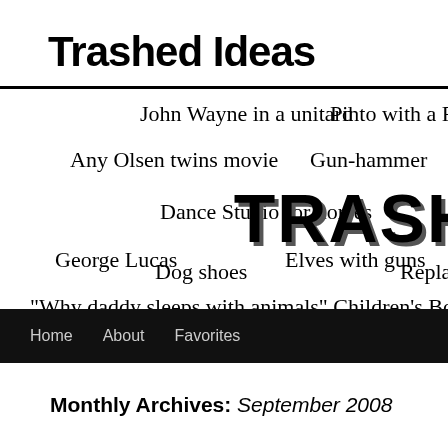Trashed Ideas
[Figure (illustration): Banner header image with scattered text phrases in script font including 'John Wayne in a unitard', 'Pinto with a Ferrari', 'Any Olsen twins movie', 'Gun-hammer', 'Squidbillies', 'Dance Studio for horses', 'George Lucas', 'Elves with guns', 'Dog shoes', 'Replace arm with a serpent', '"Why daddy sleeps with animals" Children's Book', 'Burlesque', and a large bold 'TRASH' text overlay]
Home  About  Favorites
Monthly Archives: September 2008
Why do I believe in total genocide?